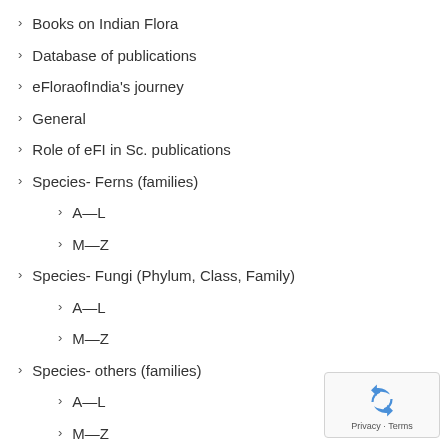Books on Indian Flora
Database of publications
eFloraofIndia's journey
General
Role of eFI in Sc. publications
Species- Ferns (families)
A—L
M—Z
Species- Fungi (Phylum, Class, Family)
A—L
M—Z
Species- others (families)
A—L
M—Z